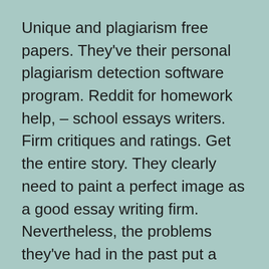Unique and plagiarism free papers. They've their personal plagiarism detection software program. Reddit for homework help, – school essays writers. Firm critiques and ratings. Get the entire story. They clearly need to paint a perfect image as a good essay writing firm. Nevertheless, the problems they've had in the past put a huge smear on that image they usually're nonetheless reeling from it regardless of current enhancements.
Programs In essay shark essaysrescue Examined